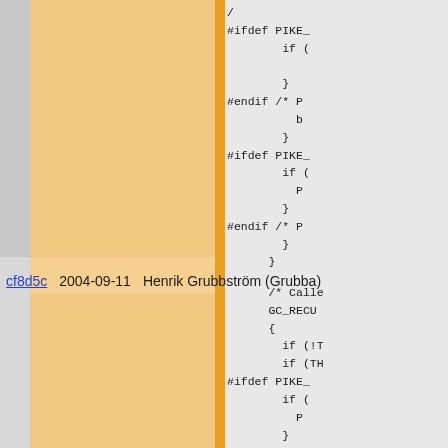[Figure (screenshot): Source code diff view with three columns: left gray (commit hash), middle peach/orange (date and author), orange border strip, right gray (code). Top section shows C preprocessor code with #ifdef PIKE_, #endif /* P... blocks and nested braces. A commit row shows 'cf8d5c 2004-09-11 Henrik Grubbström (Grubba)'. Bottom section shows more C code with /* Calle..., GC_RECUR..., if (!T..., if (TH..., #ifdef PIKE_..., #endif /* PI..., retu..., } blocks.]